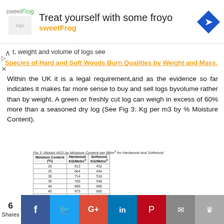[Figure (advertisement): sweetFrog frozen yogurt advertisement banner with logo, headline 'Treat yourself with some froyo', brand name 'sweetFrog', and navigation icon]
t, weight and volume of logs see Species of Hard and Soft Woods Burn Qualities by Weight and Mass.
Within the UK it is a legal requirement,and as the evidence so far indicates it makes far more sense to buy and sell logs byvolume rather than by weight. A green or freshly cut log can weigh in excess of 60% more than a seasoned dry log (See Fig 3: Kg per m3 by % Moisture Content).
Fig 3: Weight (KG) by Moisture Content per 8litre3 for Hardwood and Softwood
| Moisture Content (%) | Hardwood KG/Metre3 | Softwood KG/Metre3 |
| --- | --- | --- |
| 20 | 613 | 452 |
| 25 | 664 | 494 |
| 30 | 714 | 518 |
| 35 | 760 | 548 |
| 40 | 800 | 600 |
| 45 | 973 | 660 |
| 50 | 1027 | 716 |
| 55 | 1143 | 808 |
| 60 | 1283 | 907 |
[Figure (infographic): Social sharing bar with 6 Shares count and buttons: Facebook, Twitter, Google+, LinkedIn, Pinterest, Email, Crown]